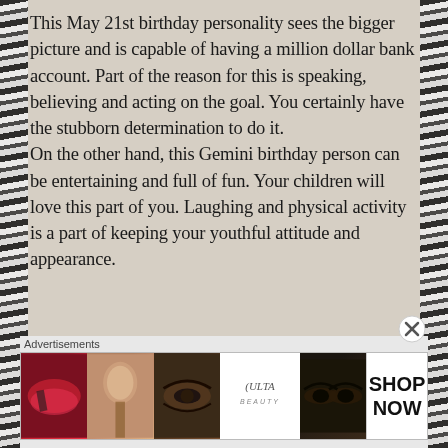This May 21st birthday personality sees the bigger picture and is capable of having a million dollar bank account. Part of the reason for this is speaking, believing and acting on the goal. You certainly have the stubborn determination to do it.
On the other hand, this Gemini birthday person can be entertaining and full of fun. Your children will love this part of you. Laughing and physical activity is a part of keeping your youthful attitude and appearance.
Among other things, those born today on May 21, are
[Figure (photo): Ulta Beauty advertisement banner showing makeup-related photos (lips with lipstick, makeup brush, eye close-up, Ulta logo, eyes with dramatic makeup) and a SHOP NOW call to action]